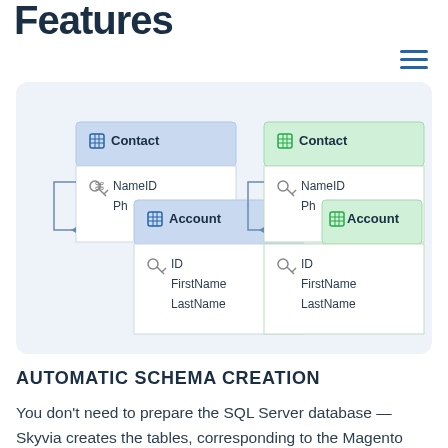Features
[Figure (schematic): Database schema diagram showing two sets of entity-relationship tables. Left side (blue): Contact table with NameID (key) and Ph fields, overlapping with Account table with ID (key), FirstName, LastName fields. Right side (green): same Contact and Account tables with an arrow connecting Account (blue) to Account (green), indicating schema mapping/replication.]
AUTOMATIC SCHEMA CREATION
You don't need to prepare the SQL Server database — Skyvia creates the tables, corresponding to the Magento objects, in